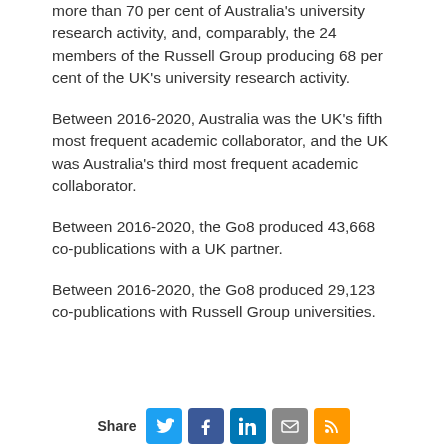more than 70 per cent of Australia's university research activity, and, comparably, the 24 members of the Russell Group producing 68 per cent of the UK's university research activity.
Between 2016-2020, Australia was the UK's fifth most frequent academic collaborator, and the UK was Australia's third most frequent academic collaborator.
Between 2016-2020, the Go8 produced 43,668 co-publications with a UK partner.
Between 2016-2020, the Go8 produced 29,123 co-publications with Russell Group universities.
Share [Twitter] [Facebook] [LinkedIn] [Email] [RSS]